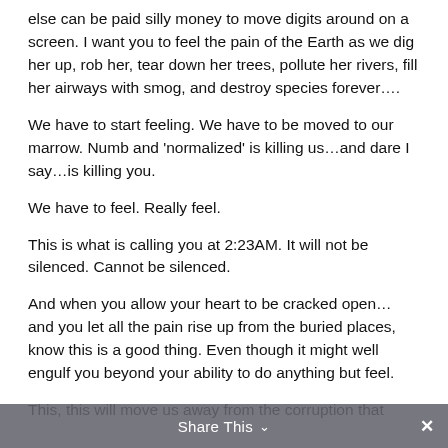else can be paid silly money to move digits around on a screen. I want you to feel the pain of the Earth as we dig her up, rob her, tear down her trees, pollute her rivers, fill her airways with smog, and destroy species forever….
We have to start feeling. We have to be moved to our marrow. Numb and 'normalized' is killing us…and dare I say…is killing you.
We have to feel. Really feel.
This is what is calling you at 2:23AM. It will not be silenced. Cannot be silenced.
And when you allow your heart to be cracked open… and you let all the pain rise up from the buried places, know this is a good thing. Even though it might well engulf you beyond your ability to do anything but feel.
This, this will move us away from the corruption that
Share This